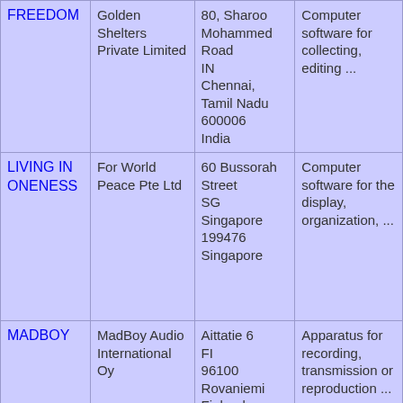| FREEDOM | Golden Shelters Private Limited | 80, Sharoo Mohammed Road
IN
Chennai, Tamil Nadu 600006
India | Computer software for collecting, editing ... |
| LIVING IN ONENESS | For World Peace Pte Ltd | 60 Bussorah Street
SG
Singapore 199476
Singapore | Computer software for the display, organization, ... |
| MADBOY | MadBoy Audio International Oy | Aittatie 6
FI
96100 Rovaniemi
Finland | Apparatus for recording, transmission or reproduction ... |